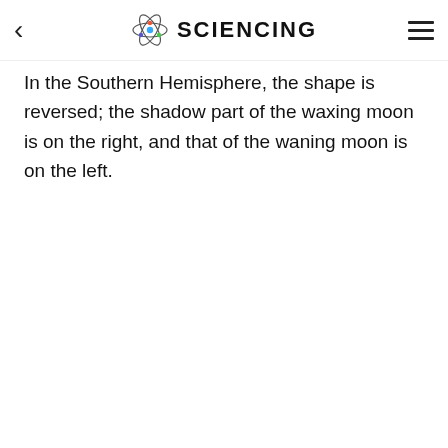SCIENCING
In the Southern Hemisphere, the shape is reversed; the shadow part of the waxing moon is on the right, and that of the waning moon is on the left.